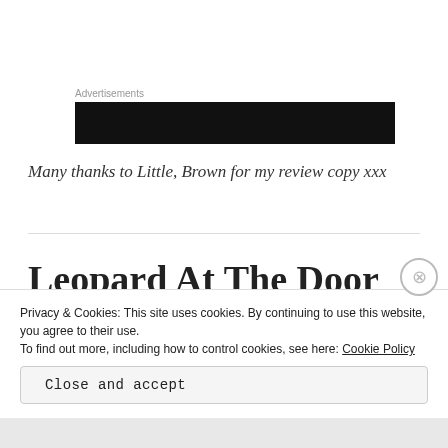Advertisements
[Figure (other): Dark advertisement banner block]
Many thanks to Little, Brown for my review copy xxx
Leopard At The Door by
Privacy & Cookies: This site uses cookies. By continuing to use this website, you agree to their use.
To find out more, including how to control cookies, see here: Cookie Policy
Close and accept